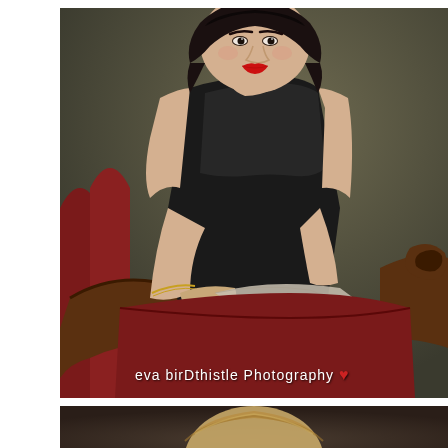[Figure (photo): Portrait photograph of a woman with short dark hair and red lipstick, wearing a black sheer sleeveless dress, seated on an ornate dark wood armchair with red leather upholstery. She rests her arms on the chair's carved wooden arm and holds a light fabric. Background is a muted olive/dark grey. Watermark reads 'eva birDthistle Photography' with a red heart. Photo is in a white bordered frame.]
eva birDthistle Photography ♥
[Figure (photo): Partial portrait photograph at bottom of page showing the top of a person's head with light blonde/brown hair, appearing to be a child, against a dark muted background.]